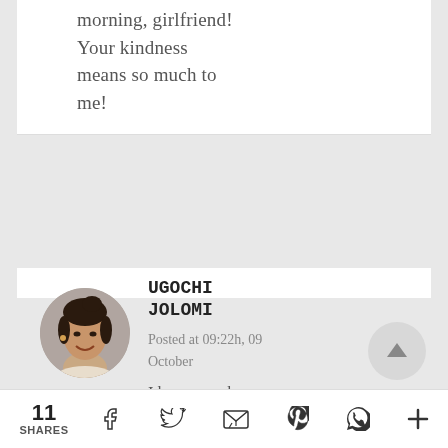morning, girlfriend! Your kindness means so much to me!
[Figure (photo): Circular profile photo of Ugochi Jolomi, a woman smiling, with dark upswept hair, wearing light colored clothing]
UGOCHI JOLOMI
Posted at 09:22h, 09 October
I know you know it is all God Beth, blessing His children with all kinds of gifts.
11 SHARES